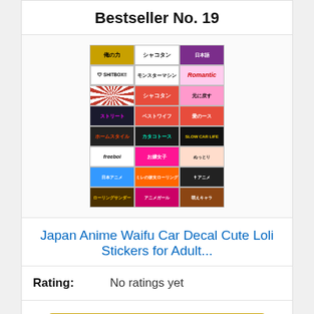Bestseller No. 19
[Figure (photo): Product image showing a sheet of Japan Anime Waifu car decal stickers with Japanese text and anime artwork in a grid layout]
Japan Anime Waifu Car Decal Cute Loli Stickers for Adult...
Rating: No ratings yet
Check on Amazon
Bestseller No. 20